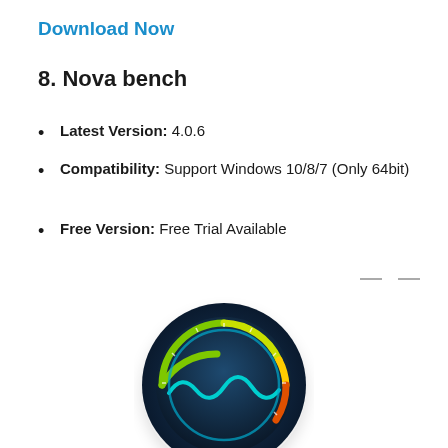Download Now
8. Nova bench
Latest Version: 4.0.6
Compatibility: Support Windows 10/8/7 (Only 64bit)
Free Version: Free Trial Available
[Figure (logo): Nova bench application logo — a circular dark blue gauge/speedometer icon with a cyan wavy line and a green-to-red arc indicator]